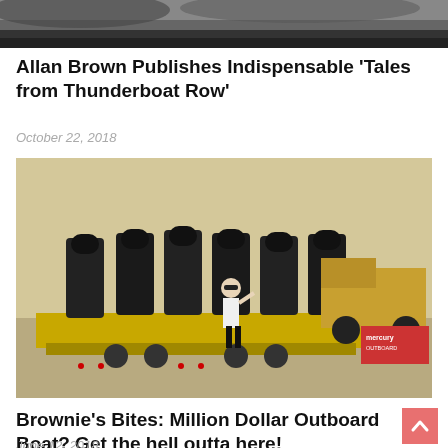[Figure (photo): Top portion of a boat or water scene, cropped, black and white or dark toned]
Allan Brown Publishes Indispensable ‘Tales from Thunderboat Row’
October 22, 2018
[Figure (photo): Vintage photo of a person standing in front of a flatbed trailer loaded with multiple large Mercury outboard motors, with trucks visible in background. Mercury Outboards branding visible on right side.]
Brownie’s Bites: Million Dollar Outboard Boat? Get the hell outta here!
June 12, 2018